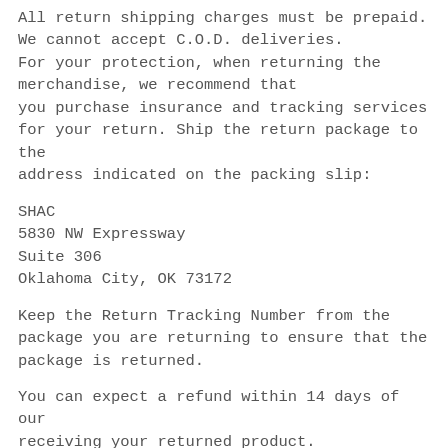phone number, email address, and order number.
All return shipping charges must be prepaid.
We cannot accept C.O.D. deliveries.
For your protection, when returning the merchandise, we recommend that you purchase insurance and tracking services for your return. Ship the return package to the address indicated on the packing slip:
SHAC
5830 NW Expressway
Suite 306
Oklahoma City, OK 73172
Keep the Return Tracking Number from the package you are returning to ensure that the package is returned.
You can expect a refund within 14 days of our receiving your returned product.
Refund will be credited to the same form of payment used in your original purchase.